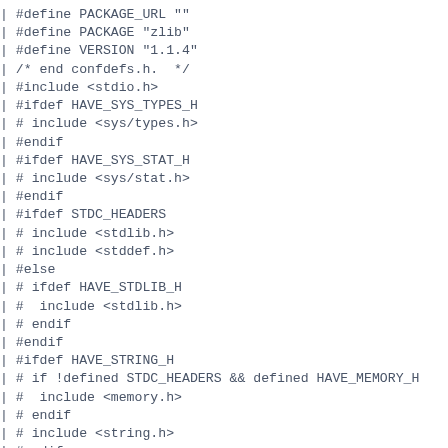| #define PACKAGE_URL ""
| #define PACKAGE "zlib"
| #define VERSION "1.1.4"
| /* end confdefs.h.  */
| #include <stdio.h>
| #ifdef HAVE_SYS_TYPES_H
| # include <sys/types.h>
| #endif
| #ifdef HAVE_SYS_STAT_H
| # include <sys/stat.h>
| #endif
| #ifdef STDC_HEADERS
| # include <stdlib.h>
| # include <stddef.h>
| #else
| # ifdef HAVE_STDLIB_H
| #  include <stdlib.h>
| # endif
| #endif
| #ifdef HAVE_STRING_H
| # if !defined STDC_HEADERS && defined HAVE_MEMORY_H
| #  include <memory.h>
| # endif
| # include <string.h>
| #endif
| #ifdef HAVE_STRINGS_H
| # include <strings.h>
| #endif
| #ifdef HAVE_INTTYPES_H
| # include <inttypes.h>